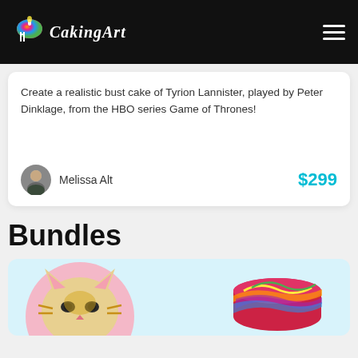CakingArt
Create a realistic bust cake of Tyrion Lannister, played by Peter Dinklage, from the HBO series Game of Thrones!
Melissa Alt    $299
Bundles
[Figure (photo): Bottom portion of a bundles card showing two cake images on a light blue background: a cat face cake on pink background (left) and a colorful tie-dye cake (right)]